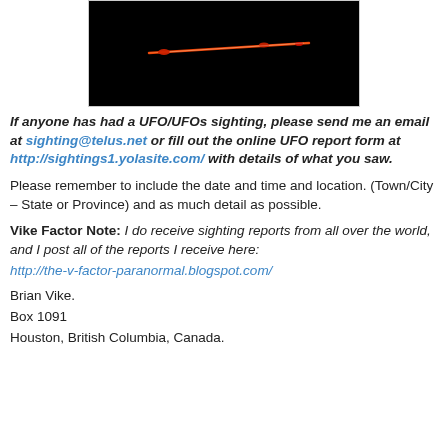[Figure (photo): Dark nighttime photo showing a glowing reddish-orange horizontal streak of light against a black background, resembling a UFO sighting.]
If anyone has had a UFO/UFOs sighting, please send me an email at sighting@telus.net or fill out the online UFO report form at http://sightings1.yolasite.com/ with details of what you saw.
Please remember to include the date and time and location. (Town/City – State or Province) and as much detail as possible.
Vike Factor Note: I do receive sighting reports from all over the world, and I post all of the reports I receive here: http://the-v-factor-paranormal.blogspot.com/
Brian Vike.
Box 1091
Houston, British Columbia, Canada.